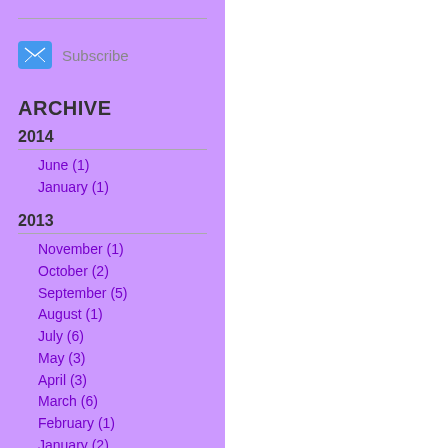[Figure (other): Email subscribe icon — blue rounded rectangle with envelope symbol]
Subscribe
ARCHIVE
2014
June (1)
January (1)
2013
November (1)
October (2)
September (5)
August (1)
July (6)
May (3)
April (3)
March (6)
February (1)
January (2)
2012